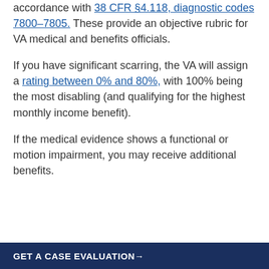VA doctors will evaluate your scarring in accordance with 38 CFR §4.118, diagnostic codes 7800–7805. These provide an objective rubric for VA medical and benefits officials.
If you have significant scarring, the VA will assign a rating between 0% and 80%, with 100% being the most disabling (and qualifying for the highest monthly income benefit).
If the medical evidence shows a functional or motion impairment, you may receive additional benefits.
GET A CASE EVALUATION→